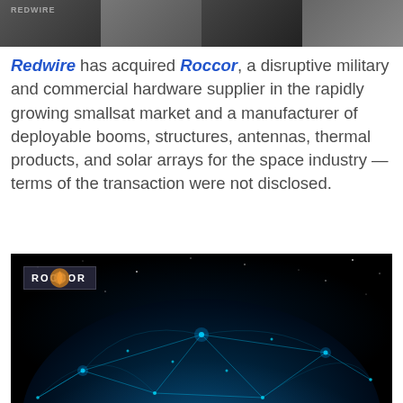[Figure (photo): Top banner image showing aerial/satellite imagery strip in grayscale]
Redwire has acquired Roccor, a disruptive military and commercial hardware supplier in the rapidly growing smallsat market and a manufacturer of deployable booms, structures, antennas, thermal products, and solar arrays for the space industry — terms of the transaction were not disclosed.
[Figure (photo): Dark image of Earth from space with glowing blue network connection lines overlaid, with ROCCOR logo badge in top-left corner]